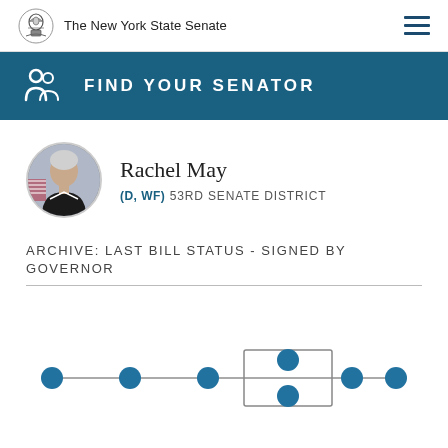The New York State Senate
FIND YOUR SENATOR
Rachel May
(D, WF) 53RD SENATE DISTRICT
ARCHIVE: LAST BILL STATUS - SIGNED BY GOVERNOR
[Figure (other): Legislative bill status timeline showing a horizontal line with 7 filled blue circular nodes. The 4th node position has a rectangular box outline with two nodes (above and below), representing the current stage in the bill process.]